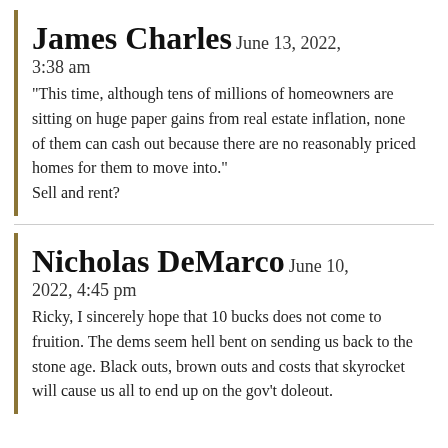James Charles June 13, 2022, 3:38 am
“This time, although tens of millions of homeowners are sitting on huge paper gains from real estate inflation, none of them can cash out because there are no reasonably priced homes for them to move into.” Sell and rent?
Nicholas DeMarco June 10, 2022, 4:45 pm
Ricky, I sincerely hope that 10 bucks does not come to fruition. The dems seem hell bent on sending us back to the stone age. Black outs, brown outs and costs that skyrocket will cause us all to end up on the gov’t doleout.